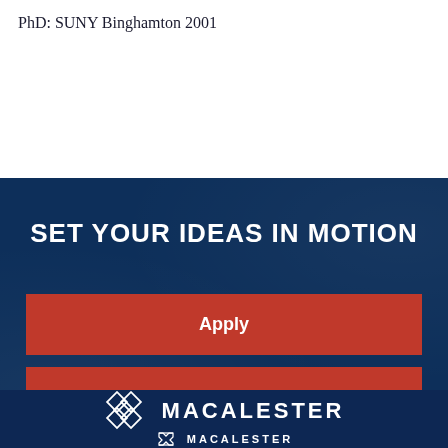PhD: SUNY Binghamton 2001
[Figure (infographic): Dark navy blue banner section with text 'SET YOUR IDEAS IN MOTION', two red call-to-action buttons labeled 'Apply' and 'Visit', and Macalester College logo at the bottom]
SET YOUR IDEAS IN MOTION
Apply
Visit
MACALESTER